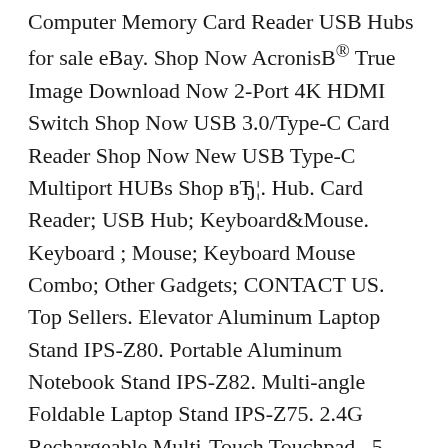Computer Memory Card Reader USB Hubs for sale eBay. Shop Now AcronisB® True Image Download Now 2-Port 4K HDMI Switch Shop Now USB 3.0/Type-C Card Reader Shop Now New USB Type-C Multiport HUBs Shop вЂ¦. Hub. Card Reader; USB Hub; Keyboard&Mouse. Keyboard ; Mouse; Keyboard Mouse Combo; Other Gadgets; CONTACT US. Top Sellers. Elevator Aluminum Laptop Stand IPS-Z80. Portable Aluminum Notebook Stand IPS-Z82. Multi-angle Foldable Laptop Stand IPS-Z75. 2.4G Rechargeable Multi-Touch Touchpad . 5-Port USB Charging Station 50W ICH-50SA50. Wireless Quick Charging Pad ICH-52WQ10 . 6-Port USB вЂ¦.
Hub. Card Reader; USB Hub; Keyboard&Mouse.